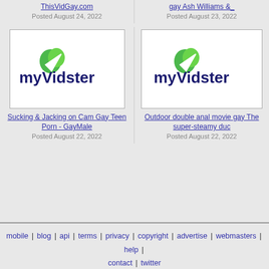ThisVidGay.com
Posted August 24, 2022
gay Ash Williams &_
Posted August 23, 2022
[Figure (logo): MyVidster logo - green leaf/checkmark icon with dark blue text 'myVidster']
Sucking & Jacking on Cam Gay Teen Porn - GayMale
Posted August 22, 2022
[Figure (logo): MyVidster logo - green leaf/checkmark icon with dark blue text 'myVidster' (partially cropped)]
Outdoor double anal movie gay The super-steamy duc
Posted August 22, 2022
mobile | blog | api | terms | privacy | copyright | advertise | webmasters | help | contact | twitter
Copyright MyVidster all rights reserved.